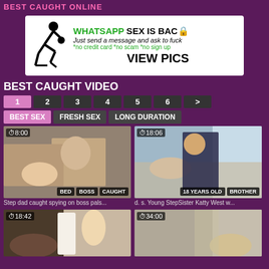BEST CAUGHT ONLINE
[Figure (advertisement): WhatsApp sex advertisement banner with silhouette icon, text: WHATSAPP SEX IS BACK, Just send a message and ask to fuck, *no credit card *no scam *no sign up, VIEW PICS]
BEST CAUGHT VIDEO
Pagination: 1 2 3 4 5 6 >
Filters: BEST SEX | FRESH SEX | LONG DURATION
[Figure (screenshot): Video thumbnail duration 8:00, tags: BED, BOSS, CAUGHT]
Step dad caught spying on boss pals...
[Figure (screenshot): Video thumbnail duration 18:06, tags: 18 YEARS OLD, BROTHER]
d. s. Young StepSister Katty West w...
[Figure (screenshot): Video thumbnail duration 18:42]
[Figure (screenshot): Video thumbnail duration 34:00]